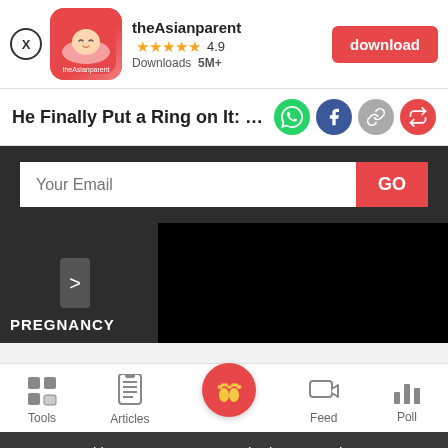[Figure (screenshot): App banner for theAsianparent showing app icon, name, 4.9 star rating, 5M+ downloads, and a red download button]
He Finally Put a Ring on It: Singapore
[Figure (screenshot): Social share icons: WhatsApp (green), Facebook (blue), link (grey), share (red)]
[Figure (screenshot): Dark email subscription bar with 'Your Email' input and red GO button]
[Figure (screenshot): Dark content area with navigation arrow, black video/image box, and PREGNANCY label]
[Figure (screenshot): Bottom navigation bar with Tools, Articles, home (pink circle with feet icons), Feed, Poll]
We use cookies to ensure you get the best experience.
Learn More   Ok, Got it